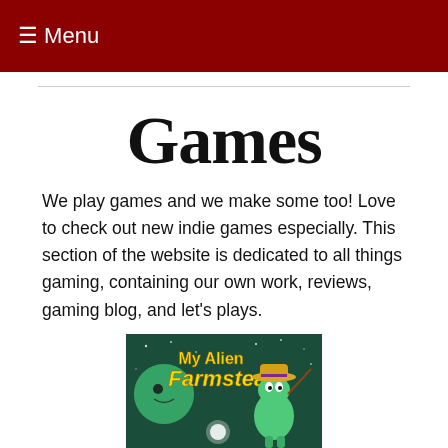≡ Menu
Games
We play games and we make some too! Love to check out new indie games especially. This section of the website is dedicated to all things gaming, containing our own work, reviews, gaming blog, and let's plays.
[Figure (illustration): My Alien Farmstead game cover art showing a cartoon alien character wearing a straw hat on a green alien planet background with stars and text reading 'My Alien Farmstead']